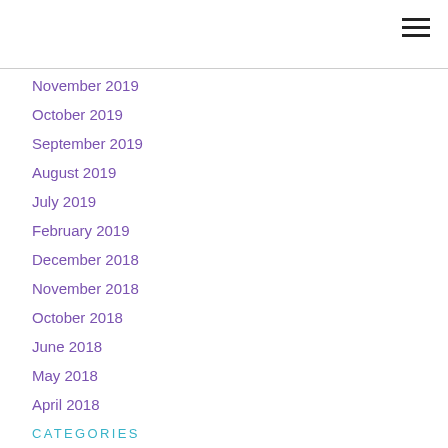November 2019
October 2019
September 2019
August 2019
July 2019
February 2019
December 2018
November 2018
October 2018
June 2018
May 2018
April 2018
CATEGORIES
All
Redhill
Redhill Characters